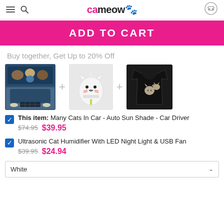cameow (logo)
ADD TO CART
Buy together, Get Up to 20% Off
[Figure (photo): Three product images in a bundle: a cat car sun shade, a cat-shaped humidifier, and a black cat t-shirt, with plus signs between them]
This item: Many Cats In Car - Auto Sun Shade - Car Driver $74.95 $39.95
Ultrasonic Cat Humidifier With LED Night Light & USB Fan $39.95 $24.94
White (dropdown)